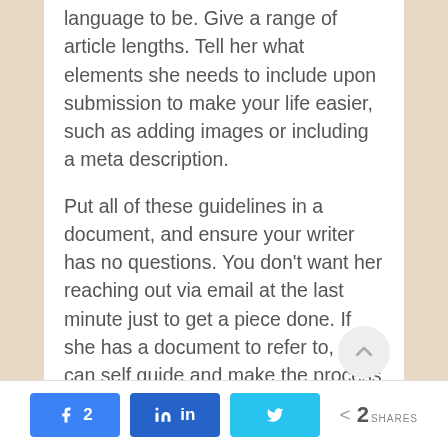language to be. Give a range of article lengths. Tell her what elements she needs to include upon submission to make your life easier, such as adding images or including a meta description.
Put all of these guidelines in a document, and ensure your writer has no questions. You don't want her reaching out via email at the last minute just to get a piece done. If she has a document to refer to, she can self guide and make the process for both of you easier.
2 SHARES (Facebook: 2, LinkedIn, Twitter)